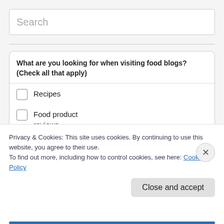Search
What are you looking for when visiting food blogs? (Check all that apply)
Recipes
Food product reviews
Interesting food-
Privacy & Cookies: This site uses cookies. By continuing to use this website, you agree to their use.
To find out more, including how to control cookies, see here: Cookie Policy
Close and accept